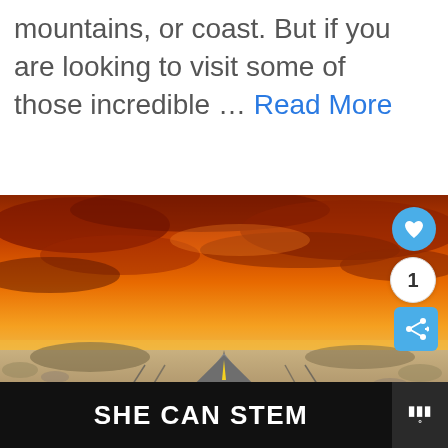mountains, or coast. But if you are looking to visit some of those incredible … Read More
[Figure (photo): A straight highway road vanishing into the horizon under a dramatic orange and red sunset sky, with desert landscape on both sides. A Route 66 sign is visible near the bottom. UI overlays include a heart/like button, a number badge showing '1', and a share button.]
WHAT'S NEXT → 11 Best Restaurants ...
SHE CAN STEM